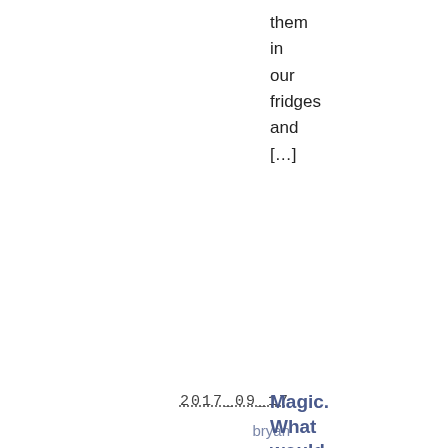them
in
our
fridges
and
[…]
2017_09_17
bryan
Computers
factoids
Comments (0)
Magic. What would it cost then?
Apple
did
their
big
show
to
sell
the